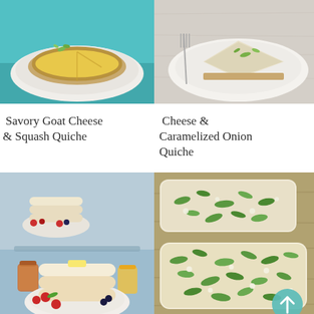[Figure (photo): A yellow savory quiche/tart on a white plate on a teal/turquoise background with herb garnish]
[Figure (photo): A slice of pale quiche on a white plate on a light wooden background with fork and herb garnish]
Savory Goat Cheese & Squash Quiche
Cheese & Caramelized Onion Quiche
[Figure (photo): Stacked fluffy Japanese pancakes with butter, fresh berries (strawberries, raspberries, blueberries), maple syrup and orange juice on a light blue background]
[Figure (photo): Flatbread pizza topped with green herbs/arugula, cheese and seasoning on a wooden board]